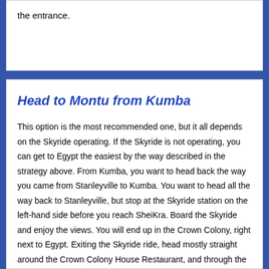the entrance.
Head to Montu from Kumba
This option is the most recommended one, but it all depends on the Skyride operating. If the Skyride is not operating, you can get to Egypt the easiest by the way described in the strategy above. From Kumba, you want to head back the way you came from Stanleyville to Kumba. You want to head all the way back to Stanleyville, but stop at the Skyride station on the left-hand side before you reach SheiKra. Board the Skyride and enjoy the views. You will end up in the Crown Colony, right next to Egypt. Exiting the Skyride ride, head mostly straight around the Crown Colony House Restaurant, and through the large structure ahead to reach the entrance.